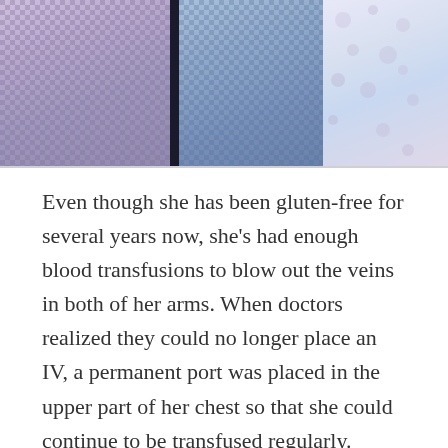[Figure (photo): Cropped photo showing three people standing together, partially visible from roughly chest/shoulders up. Left person wears a purple/lavender checkered shirt, middle person wears a blue checkered shirt, right person wears a floral patterned top.]
Even though she has been gluten-free for several years now, she's had enough blood transfusions to blow out the veins in both of her arms. When doctors realized they could no longer place an IV, a permanent port was placed in the upper part of her chest so that she could continue to be transfused regularly.
Over the years, the effects of Celiac has continued to not-so-silently eat away at her body. Last October she began to experience severe, intermittent abdominal pain… a few days here, a few days there